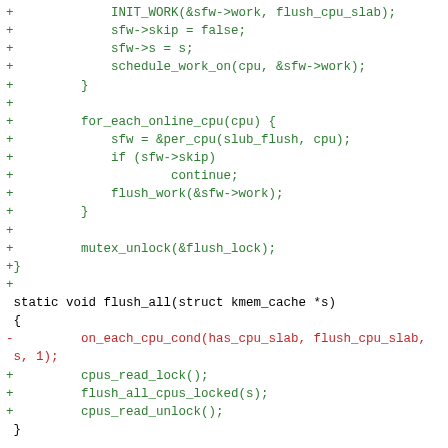[Figure (other): Source code diff showing changes to Linux kernel SLUB memory allocator flush_all function, with added lines in green (+), removed lines in red (-), and context lines in black.]